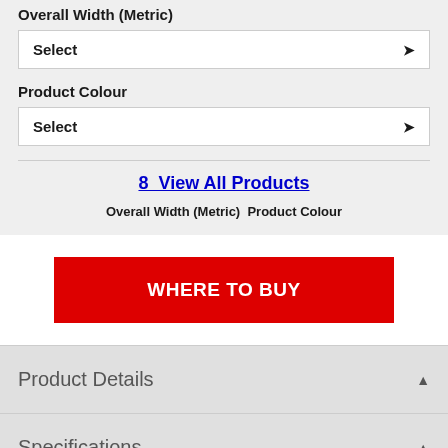Overall Width (Metric)
Select
Product Colour
Select
8  View All Products
Overall Width (Metric)  Product Colour
WHERE TO BUY
Product Details
Specifications